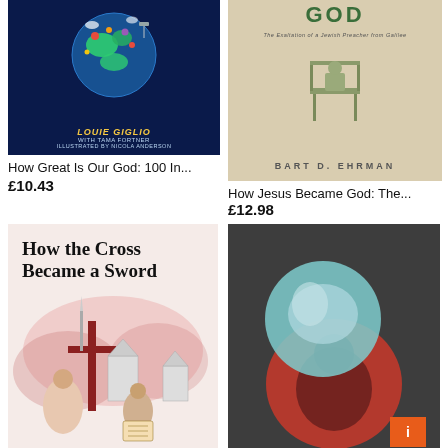[Figure (illustration): Book cover: How Great Is Our God by Louie Giglio, illustrated by Nicola Anderson. Dark blue background with colorful globe illustration, author name in yellow italic, illustrator credit in light blue.]
How Great Is Our God: 100 In...
£10.43
[Figure (illustration): Book cover: How Jesus Became God by Bart D. Ehrman. Beige/tan background, 'GOD' in large green letters at top, subtitle 'The Exaltation of a Jewish Preacher from Galilee', illustration of figure on chair, author name at bottom.]
How Jesus Became God: The...
£12.98
[Figure (illustration): Book cover: How the Cross Became a Sword. Light reddish-pink background with black bold serif title text, illustrated scene with cross, sword, church, and medieval figures below.]
[Figure (illustration): Book cover: Abstract design with dark charcoal background, overlapping teal/mint circle and red circle with a shadowy human figure, orange square badge with 'I' in bottom right corner.]